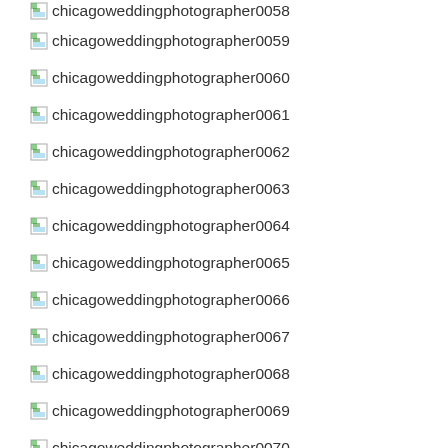chicagoweddingphotographer0058
chicagoweddingphotographer0059
chicagoweddingphotographer0060
chicagoweddingphotographer0061
chicagoweddingphotographer0062
chicagoweddingphotographer0063
chicagoweddingphotographer0064
chicagoweddingphotographer0065
chicagoweddingphotographer0066
chicagoweddingphotographer0067
chicagoweddingphotographer0068
chicagoweddingphotographer0069
chicagoweddingphotographer0070
chicagoweddingphotographer0071